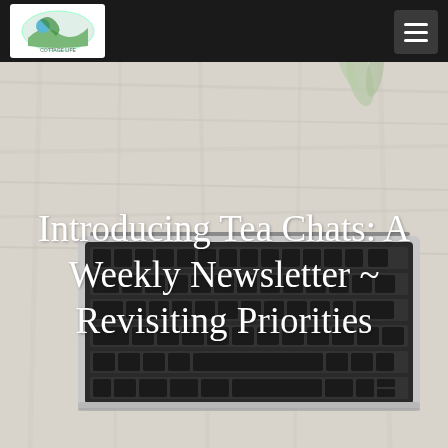[Figure (photo): A MacBook laptop keyboard photographed from above on a light wooden desk surface, with a small green plant visible in the upper portion. The image serves as a hero/banner background for a blog or newsletter website.]
Introducing Tea Chats: A Weekly Newsletter ~ Revisiting Priorities